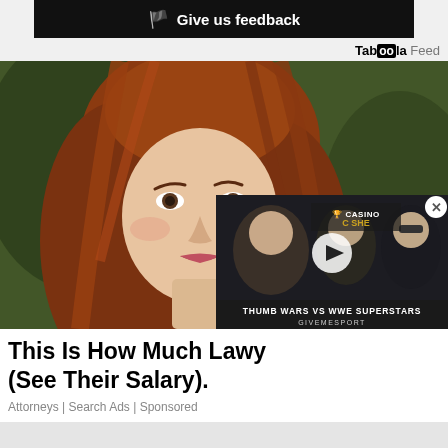🏴 Give us feedback
Taboola Feed
[Figure (photo): Close-up portrait of a young woman with long auburn/red hair, looking slightly upward, with a blurred green/dark background.]
[Figure (screenshot): Video overlay thumbnail showing people at an event with text 'THUMB WARS VS WWE SUPERSTARS' and 'GIVEMESPORT' branding, with a play button and close (X) button.]
This Is How Much Lawy (See Their Salary).
Attorneys | Search Ads | Sponsored